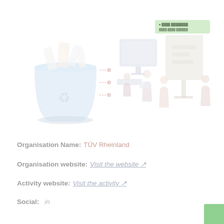[Figure (illustration): Top right green badge/logo area with text]
[Figure (illustration): Three isometric illustrations: a recycling/waste bin with papers on left, a computer workstation with people in center, a kiosk/display stand with people on right]
Organisation Name: TÜV Rheinland
Organisation website: Visit the website ↗
Activity website: Visit the activity ↗
Social: in